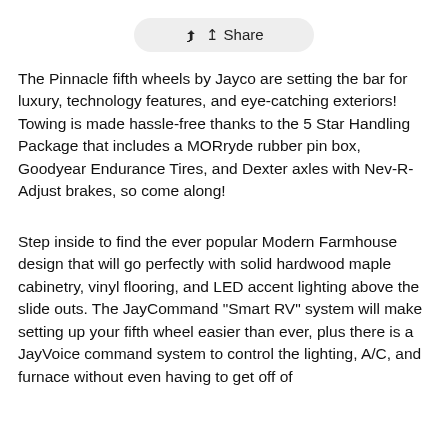Share
The Pinnacle fifth wheels by Jayco are setting the bar for luxury, technology features, and eye-catching exteriors! Towing is made hassle-free thanks to the 5 Star Handling Package that includes a MORryde rubber pin box, Goodyear Endurance Tires, and Dexter axles with Nev-R-Adjust brakes, so come along!
Step inside to find the ever popular Modern Farmhouse design that will go perfectly with solid hardwood maple cabinetry, vinyl flooring, and LED accent lighting above the slide outs. The JayCommand "Smart RV" system will make setting up your fifth wheel easier than ever, plus there is a JayVoice command system to control the lighting, A/C, and furnace without even having to get off of